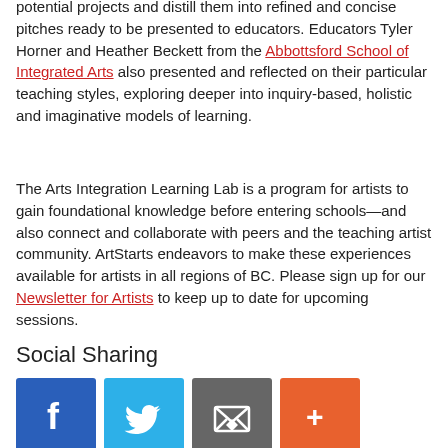opportunity for artists to assess individual potential projects and distill them into refined and concise pitches ready to be presented to educators. Educators Tyler Horner and Heather Beckett from the Abbottsford School of Integrated Arts also presented and reflected on their particular teaching styles, exploring deeper into inquiry-based, holistic and imaginative models of learning.
The Arts Integration Learning Lab is a program for artists to gain foundational knowledge before entering schools—and also connect and collaborate with peers and the teaching artist community. ArtStarts endeavors to make these experiences available for artists in all regions of BC. Please sign up for our Newsletter for Artists to keep up to date for upcoming sessions.
Social Sharing